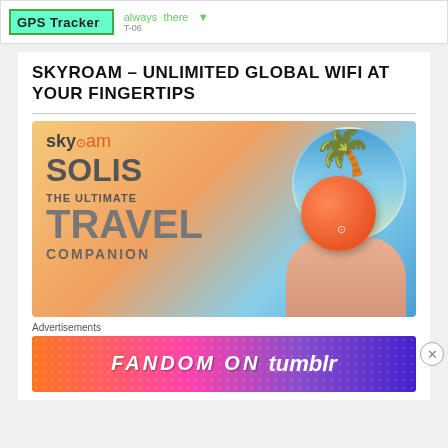[Figure (logo): GPS Tracker advertisement banner with green logo and 'always there' tagline, T-06]
SKYROAM – UNLIMITED GLOBAL WIFI AT YOUR FINGERTIPS
[Figure (photo): Skyroam Solis advertisement image: orange circular WiFi device held by a hand against tropical palm tree and sky background. Text reads: skyroam SOLIS THE ULTIMATE TRAVEL COMPANION]
Advertisements
[Figure (illustration): Fandom on Tumblr advertisement banner with colorful gradient background and white text]